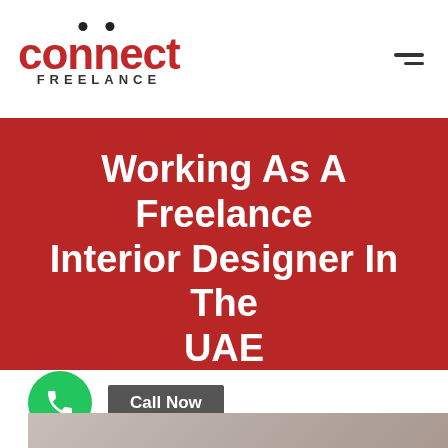[Figure (logo): Connect Freelance logo with red text and hamburger menu icon]
Working As A Freelance Interior Designer In The UAE
[Figure (infographic): Green phone call circle button with Call Now label, and partial person photo below]